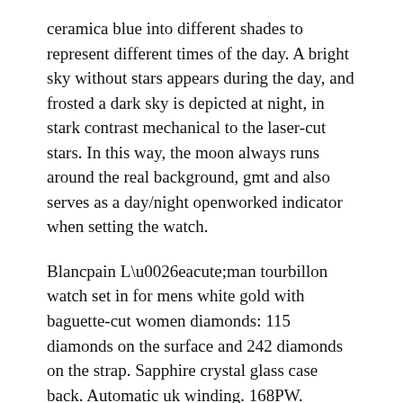ceramica blue into different shades to represent different times of the day. A bright sky without stars appears during the day, and frosted a dark sky is depicted at night, in stark contrast mechanical to the laser-cut stars. In this way, the moon always runs around the real background, gmt and also serves as a day/night openworked indicator when setting the watch.
Blancpain L\u0026eacute;man tourbillon watch set in for mens white gold with baguette-cut women diamonds: 115 diamonds on the surface and 242 diamonds on the strap. Sapphire crystal glass case back. Automatic uk winding. 168PW. Surface diameter: 40mm.